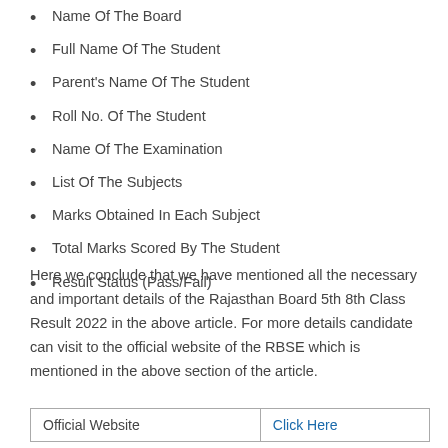Name Of The Board
Full Name Of The Student
Parent's Name Of The Student
Roll No. Of The Student
Name Of The Examination
List Of The Subjects
Marks Obtained In Each Subject
Total Marks Scored By The Student
Result Status (Pass/Fail)
Here we conclude that we have mentioned all the necessary and important details of the Rajasthan Board 5th 8th Class Result 2022 in the above article. For more details candidate can visit to the official website of the RBSE which is mentioned in the above section of the article.
| Official Website | Click Here |
| --- | --- |